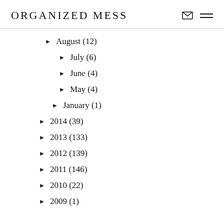ORGANIZED MESS
► August (12)
► July (6)
► June (4)
► May (4)
► January (1)
► 2014 (39)
► 2013 (133)
► 2012 (139)
► 2011 (146)
► 2010 (22)
► 2009 (1)